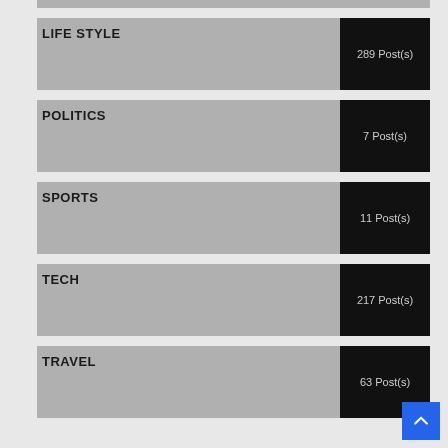LIFE STYLE — 289 Post(s)
POLITICS — 7 Post(s)
SPORTS — 11 Post(s)
TECH — 217 Post(s)
TRAVEL — 63 Post(s)